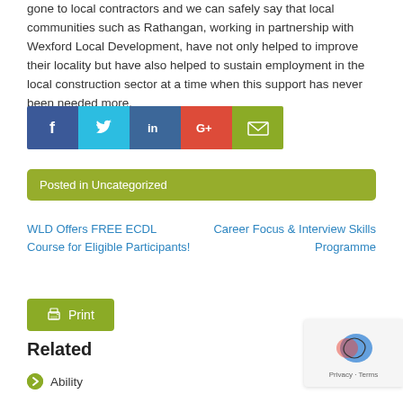gone to local contractors and we can safely say that local communities such as Rathangan, working in partnership with Wexford Local Development, have not only helped to improve their locality but have also helped to sustain employment in the local construction sector at a time when this support has never been needed more.
[Figure (other): Social media share buttons: Facebook (dark blue), Twitter (light blue), LinkedIn (blue), Google+ (red), Email (olive green)]
Posted in Uncategorized
WLD Offers FREE ECDL Course for Eligible Participants!
Career Focus & Interview Skills Programme
Print
Related
Ability